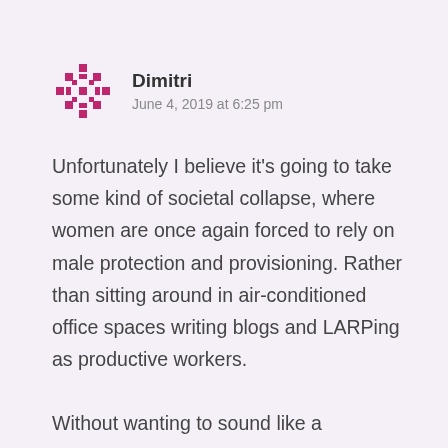[Figure (illustration): Pink/magenta snowflake-style geometric avatar icon for user Dimitri]
Dimitri
June 4, 2019 at 6:25 pm
Unfortunately I believe it’s going to take some kind of societal collapse, where women are once again forced to rely on male protection and provisioning. Rather than sitting around in air-conditioned office spaces writing blogs and LARPing as productive workers.
Without wanting to sound like a